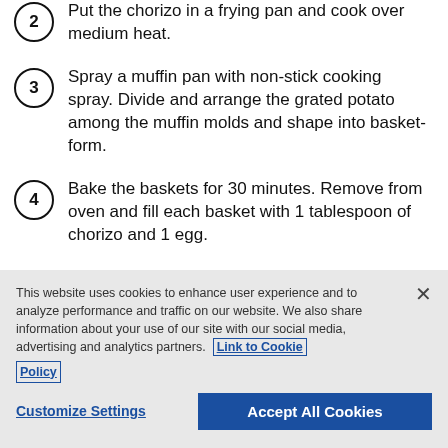Put the chorizo in a frying pan and cook over medium heat.
Spray a muffin pan with non-stick cooking spray. Divide and arrange the grated potato among the muffin molds and shape into basket-form.
Bake the baskets for 30 minutes. Remove from oven and fill each basket with 1 tablespoon of chorizo and 1 egg.
This website uses cookies to enhance user experience and to analyze performance and traffic on our website. We also share information about your use of our site with our social media, advertising and analytics partners. Link to Cookie Policy
Customize Settings
Accept All Cookies